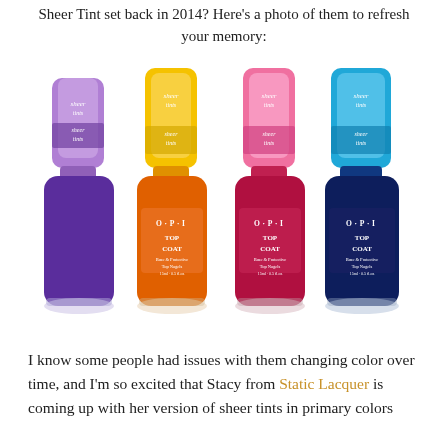Sheer Tint set back in 2014? Here's a photo of them to refresh your memory:
[Figure (photo): Four OPI Sheer Tints nail polish bottles in purple, orange/yellow, red/pink, and navy/blue colors, each with colorful tops and 'sheer tints' labels.]
I know some people had issues with them changing color over time, and I'm so excited that Stacy from Static Lacquer is coming up with her version of sheer tints in primary colors